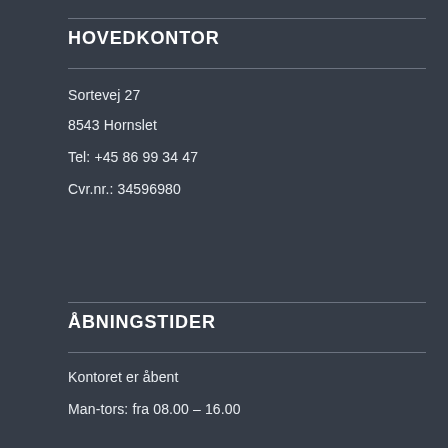HOVEDKONTOR
Sortevej 27
8543 Hornslet
Tel: +45 86 99 34 47
Cvr.nr.: 34596980
ÅBNINGSTIDER
Kontoret er åbent
Man-tors: fra 08.00 – 16.00